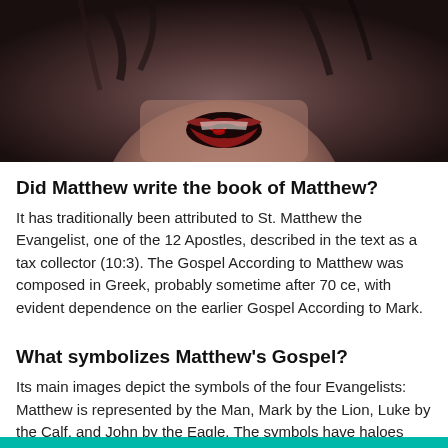[Figure (photo): Close-up photo of a person's lower face with an open mouth, bloodied lips, wet dark hair — dramatic/cinematic appearance against a dark background.]
Did Matthew write the book of Matthew?
It has traditionally been attributed to St. Matthew the Evangelist, one of the 12 Apostles, described in the text as a tax collector (10:3). The Gospel According to Matthew was composed in Greek, probably sometime after 70 ce, with evident dependence on the earlier Gospel According to Mark.
What symbolizes Matthew's Gospel?
Its main images depict the symbols of the four Evangelists: Matthew is represented by the Man, Mark by the Lion, Luke by the Calf, and John by the Eagle. The symbols have haloes and wings, a double set in the case of the Calf.